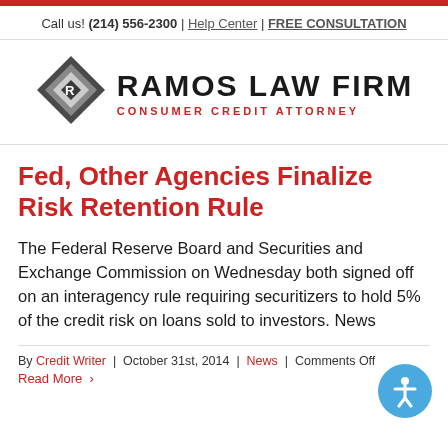Call us! (214) 556-2300 | Help Center | FREE CONSULTATION
[Figure (logo): Ramos Law Firm logo with diamond geometric icon and text 'RAMOS LAW FIRM CONSUMER CREDIT ATTORNEY']
Fed, Other Agencies Finalize Risk Retention Rule
The Federal Reserve Board and Securities and Exchange Commission on Wednesday both signed off on an interagency rule requiring securitizers to hold 5% of the credit risk on loans sold to investors. News
By Credit Writer | October 31st, 2014 | News | Comments Off Read More >